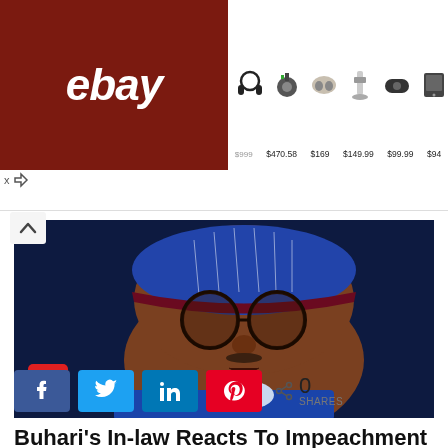[Figure (other): eBay advertisement banner showing headphones, robot vacuum, earbuds, vacuum cleaner, bluetooth speaker, and a device with prices: $470.58, $169, $149.99, $99.99, $94]
[Figure (photo): Photo of a man wearing glasses and a blue and white patterned cap with a maroon band, dressed in a blue outfit, with a camera icon in the bottom left]
Buhari's In-law Reacts To Impeachment
[Figure (other): Social share buttons: Facebook (k icon), Twitter (t icon), LinkedIn (in icon), Pinterest (P icon), and share count showing 0 SHARES]